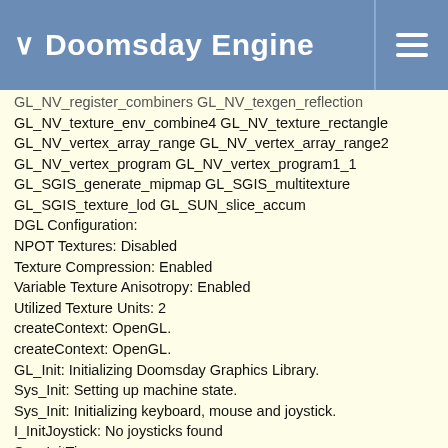Doomsday Engine
GL_NV_register_combiners GL_NV_texgen_reflection GL_NV_texture_env_combine4 GL_NV_texture_rectangle GL_NV_vertex_array_range GL_NV_vertex_array_range2 GL_NV_vertex_program GL_NV_vertex_program1_1 GL_SGIS_generate_mipmap GL_SGIS_multitexture GL_SGIS_texture_lod GL_SUN_slice_accum DGL Configuration: NPOT Textures: Disabled Texture Compression: Enabled Variable Texture Anisotropy: Enabled Utilized Texture Units: 2 createContext: OpenGL. createContext: OpenGL. GL_Init: Initializing Doomsday Graphics Library. Sys_Init: Setting up machine state. Sys_Init: Initializing keyboard, mouse and joystick. I_InitJoystick: No joysticks found Sys_InitTimer. Sfx_Init: Initializing... S_Init: OK. Parsing configuration files. W_Init: Init WADfiles. W_AddFile: data/doomsday.pk3 W_AddFile: data/jhexen/jhexen.pk3 W_AddFile: /D/doom/hexen.wad